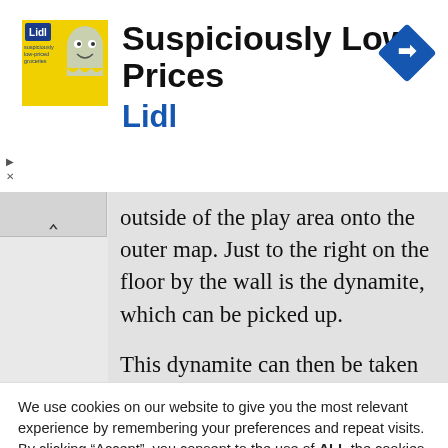[Figure (screenshot): Lidl advertisement banner with yellow logo, ghost mascot icon, text 'Suspiciously Low Prices' and 'Lidl' in blue, with a blue navigation diamond icon on the right.]
outside of the play area onto the outer map. Just to the right on the floor by the wall is the dynamite, which can be picked up.
This dynamite can then be taken to
We use cookies on our website to give you the most relevant experience by remembering your preferences and repeat visits. By clicking “Accept”, you consent to the use of ALL the cookies.